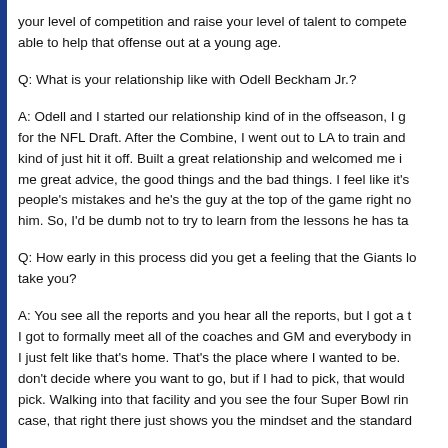your level of competition and raise your level of talent to compete and be able to help that offense out at a young age.
Q: What is your relationship like with Odell Beckham Jr.?
A: Odell and I started our relationship kind of in the offseason, I g for the NFL Draft. After the Combine, I went out to LA to train and kind of just hit it off. Built a great relationship and welcomed me i me great advice, the good things and the bad things. I feel like it's people's mistakes and he's the guy at the top of the game right no him. So, I'd be dumb not to try to learn from the lessons he has ta
Q: How early in this process did you get a feeling that the Giants lo take you?
A: You see all the reports and you hear all the reports, but I got a t I got to formally meet all of the coaches and GM and everybody in I just felt like that's home. That's the place where I wanted to be. don't decide where you want to go, but if I had to pick, that would pick. Walking into that facility and you see the four Super Bowl rin case, that right there just shows you the mindset and the standard